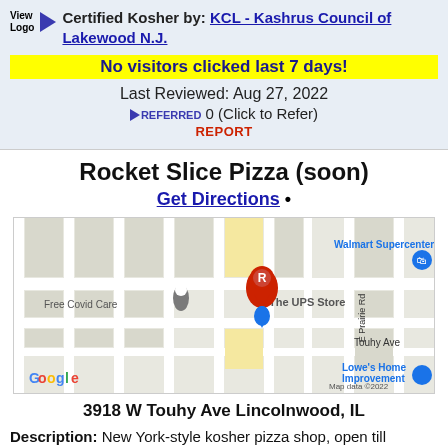Certified Kosher by: KCL - Kashrus Council of Lakewood N.J.
No visitors clicked last 7 days!
Last Reviewed: Aug 27, 2022
REFERRED 0 (Click to Refer)
REPORT
Rocket Slice Pizza (soon)
Get Directions •
[Figure (map): Google Maps screenshot showing location of Rocket Slice Pizza near The UPS Store, Walmart Supercenter, Free Covid Care, and Lowe's Home Improvement on Touhy Ave in Lincolnwood, IL]
3918 W Touhy Ave Lincolnwood, IL
Description: New York-style kosher pizza shop, open till midnight.